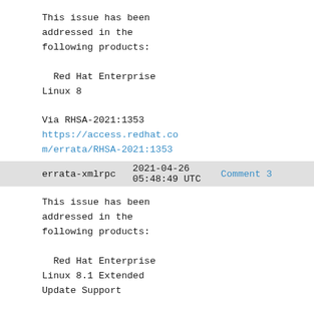This issue has been addressed in the following products:

  Red Hat Enterprise Linux 8

Via RHSA-2021:1353
https://access.redhat.com/errata/RHSA-2021:1353
errata-xmlrpc   2021-04-26 05:48:49 UTC   Comment 3
This issue has been addressed in the following products:

  Red Hat Enterprise Linux 8.1 Extended Update Support

Via RHSA-2021:1351
https://access.redhat.com/errata/RHSA-2021:1351